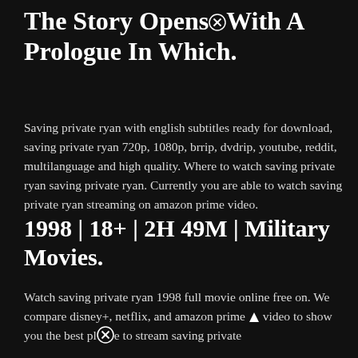The Story Opens With A Prologue In Which.
Saving private ryan with english subtitles ready for download, saving private ryan 720p, 1080p, brrip, dvdrip, youtube, reddit, multilanguage and high quality. Where to watch saving private ryan saving private ryan. Currently you are able to watch saving private ryan streaming on amazon prime video.
1998 | 18+ | 2H 49M | Military Movies.
Watch saving private ryan 1998 full movie online free on. We compare disney+, netflix, and amazon prime video to show you the best place to stream saving private